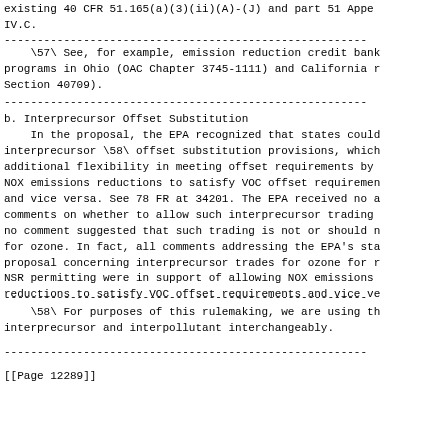existing 40 CFR 51.165(a)(3)(ii)(A)-(J) and part 51 Appe
IV.C.
\57\ See, for example, emission reduction credit bank
programs in Ohio (OAC Chapter 3745-1111) and California r
Section 40709).
b. Interprecursor Offset Substitution
In the proposal, the EPA recognized that states could
interprecursor \58\ offset substitution provisions, which
additional flexibility in meeting offset requirements by
NOX emissions reductions to satisfy VOC offset requiremen
and vice versa. See 78 FR at 34201. The EPA received no a
comments on whether to allow such interprecursor trading
no comment suggested that such trading is not or should n
for ozone. In fact, all comments addressing the EPA's sta
proposal concerning interprecursor trades for ozone for r
NSR permitting were in support of allowing NOX emissions
reductions to satisfy VOC offset requirements and vice ve
\58\ For purposes of this rulemaking, we are using th
interprecursor and interpollutant interchangeably.
[[Page 12289]]